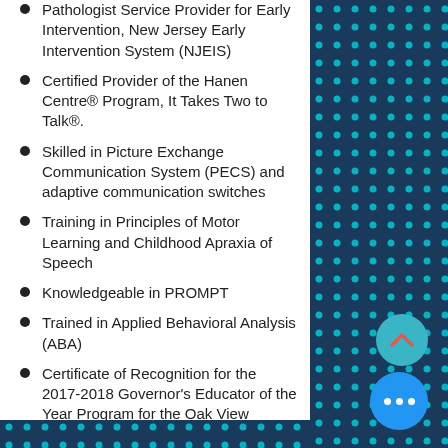Pathologist Service Provider for Early Intervention, New Jersey Early Intervention System (NJEIS)
Certified Provider of the Hanen Centre® Program, It Takes Two to Talk®.
Skilled in Picture Exchange Communication System (PECS) and adaptive communication switches
Training in Principles of Motor Learning and Childhood Apraxia of Speech
Knowledgeable in PROMPT
Trained in Applied Behavioral Analysis (ABA)
Certificate of Recognition for the 2017-2018 Governor's Educator of the Year Program for the Oak View Elementary School in the Bloomfield Public School district